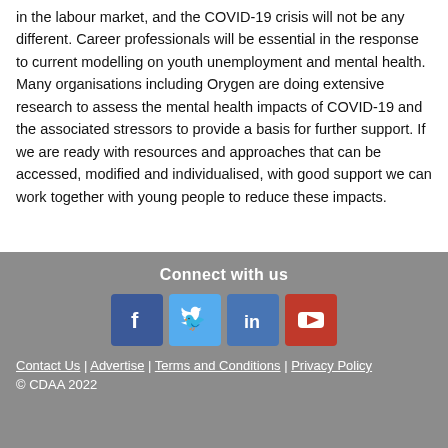in the labour market, and the COVID-19 crisis will not be any different. Career professionals will be essential in the response to current modelling on youth unemployment and mental health. Many organisations including Orygen are doing extensive research to assess the mental health impacts of COVID-19 and the associated stressors to provide a basis for further support. If we are ready with resources and approaches that can be accessed, modified and individualised, with good support we can work together with young people to reduce these impacts.
Connect with us
[Figure (other): Four social media icon buttons: Facebook (blue), Twitter (light blue), LinkedIn (blue), YouTube (red)]
Contact Us | Advertise | Terms and Conditions | Privacy Policy
© CDAA 2022